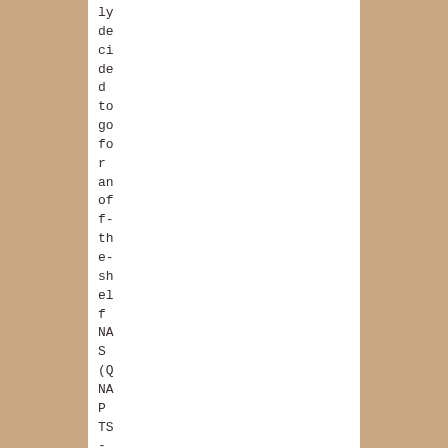ly decided to go for an off-the-shelf NAS (QNAP TS-239/439, or 21